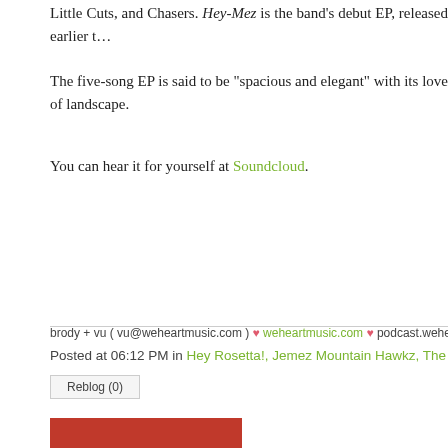Little Cuts, and Chasers. Hey-Mez is the band's debut EP, released earlier t…
The five-song EP is said to be "spacious and elegant" with its love of landscape.
You can hear it for yourself at Soundcloud.
brody + vu ( vu@weheartmusic.com ) ♥ weheartmusic.com ♥ podcast.weheartmusic.com…
Posted at 06:12 PM in Hey Rosetta!, Jemez Mountain Hawkz, The Lum…
Reblog (0)
[Figure (illustration): Red illustrated character with headphones sitting cross-legged with a heart/cassette design on chest, on a red patterned background]
Search